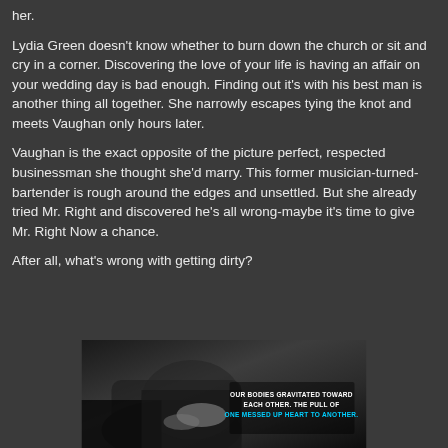her.
Lydia Green doesn't know whether to burn down the church or sit and cry in a corner. Discovering the love of your life is having an affair on your wedding day is bad enough. Finding out it's with his best man is another thing all together. She narrowly escapes tying the knot and meets Vaughan only hours later.
Vaughan is the exact opposite of the picture perfect, respected businessman she thought she'd marry. This former musician-turned-bartender is rough around the edges and unsettled. But she already tried Mr. Right and discovered he's all wrong-maybe it's time to give Mr. Right Now a chance.
After all, what's wrong with getting dirty?
[Figure (photo): Black and white photo of two people embracing, with text overlay reading: OUR BODIES GRAVITATED TOWARD EACH OTHER. THE PULL OF ONE MESSED UP HEART TO ANOTHER.]